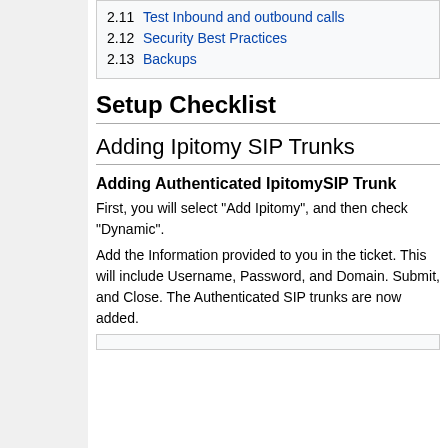2.11 Test Inbound and outbound calls
2.12 Security Best Practices
2.13 Backups
Setup Checklist
Adding Ipitomy SIP Trunks
Adding Authenticated IpitomySIP Trunk
First, you will select "Add Ipitomy", and then check "Dynamic".
Add the Information provided to you in the ticket. This will include Username, Password, and Domain. Submit, and Close. The Authenticated SIP trunks are now added.